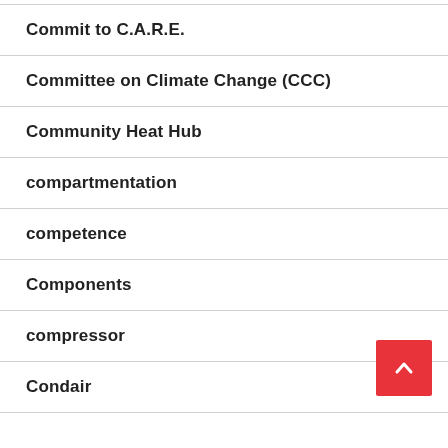Commit to C.A.R.E.
Committee on Climate Change (CCC)
Community Heat Hub
compartmentation
competence
Components
compressor
Condair